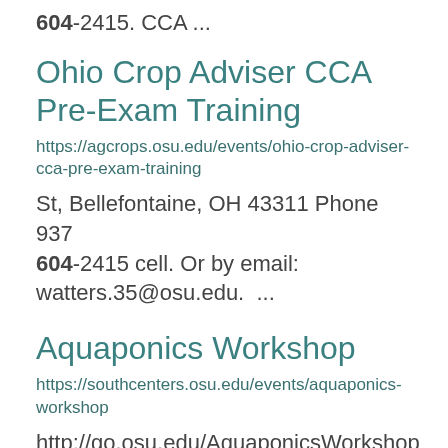604-2415. CCA ...
Ohio Crop Adviser CCA Pre-Exam Training
https://agcrops.osu.edu/events/ohio-crop-adviser-cca-pre-exam-training
St, Bellefontaine, OH 43311 Phone 937 604-2415 cell. Or by email: watters.35@osu.edu.  ...
Aquaponics Workshop
https://southcenters.osu.edu/events/aquaponics-workshop
http://go.osu.edu/AquaponicsWorkshop
Once you register online, mail your